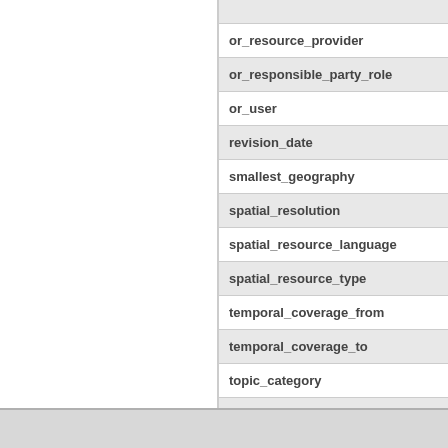| or_resource_provider |
| or_responsible_party_role |
| or_user |
| revision_date |
| smallest_geography |
| spatial_resolution |
| spatial_resource_language |
| spatial_resource_type |
| temporal_coverage_from |
| temporal_coverage_to |
| topic_category |
| update_frequency |